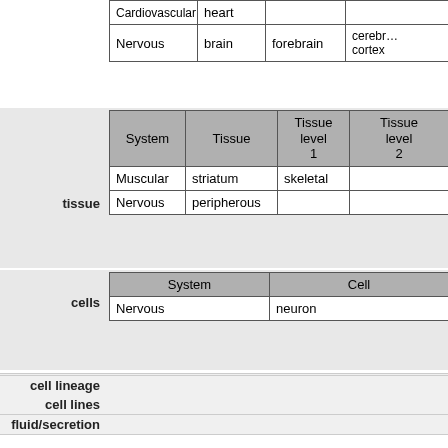| System | Tissue | Tissue level 1 | Tissue level 2 |
| --- | --- | --- | --- |
| Cardiovascular | heart |  |  |
| Nervous | brain | forebrain | cerebr… cortex |
tissue
| System | Tissue | Tissue level 1 | Tissue level 2 |
| --- | --- | --- | --- |
| Muscular | striatum | skeletal |  |
| Nervous | peripherous |  |  |
cells
| System | Cell |
| --- | --- |
| Nervous | neuron |
cell lineage
cell lines
fluid/secretion
at STAGE
physiological period    fetal
Text nervous system
PH
PHYSICAL PROPERTIES
STRUCTURE